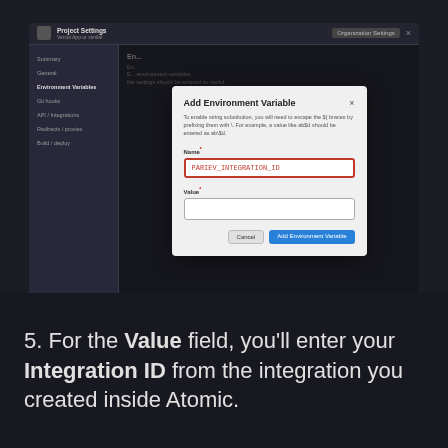[Figure (screenshot): Screenshot of a project settings UI showing an 'Add Environment Variable' modal dialog with a Name field containing 'PARIEV_INTEGRATION_ID' highlighted with a red border, and an empty Value field, with Cancel and Add Environment Variable buttons.]
5. For the Value field, you'll enter your Integration ID from the integration you created inside Atomic.